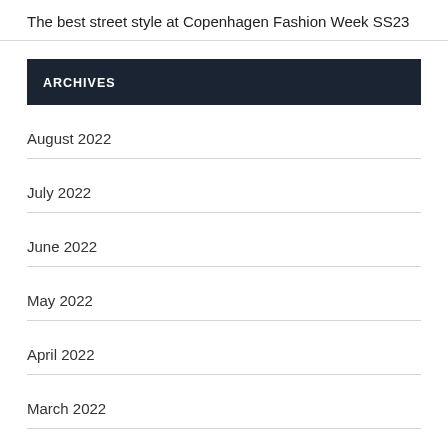The best street style at Copenhagen Fashion Week SS23
ARCHIVES
August 2022
July 2022
June 2022
May 2022
April 2022
March 2022
February 2022
January 2022
December 2021